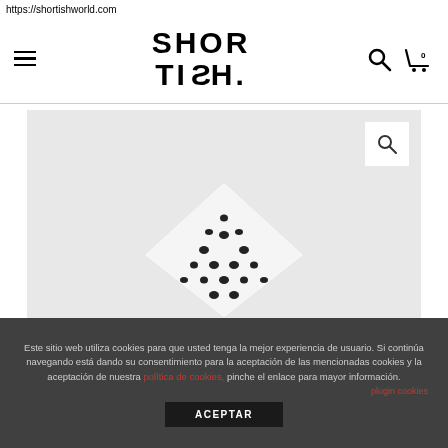https://shortishworld.com
[Figure (screenshot): Shortish website navigation bar with hamburger menu, SHORTISH logo in bold stylized text, search icon and cart icon with 0 items]
[Figure (photo): Product image on light gray background showing a white fabric item with black polka dots (bandana or similar), with a zoom/search button in top right corner]
Este sitio web utiliza cookies para que usted tenga la mejor experiencia de usuario. Si continúa navegando está dando su consentimiento para la aceptación de las mencionadas cookies y la aceptación de nuestra política de cookies, pinche el enlace para mayor información.
plugin cookies
ACEPTAR